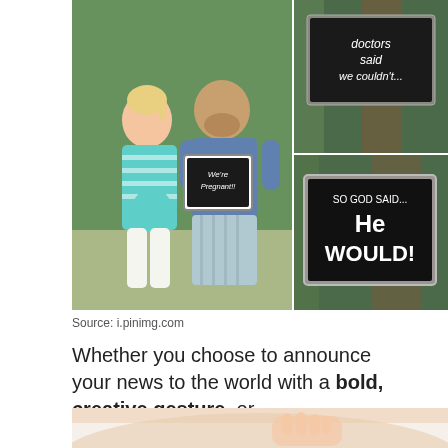[Figure (photo): Collage of three photos: left shows a couple kissing outdoors, the man holding a chalkboard sign reading 'We're Pregnant!!'; top right shows a chalkboard sign reading 'doctors said we couldn't...'; bottom right shows a chalkboard sign reading 'SO GOD SAID... He WOULD!']
Source: i.pinimg.com
Whether you choose to announce your news to the world with a bold, creative gesture, or.
[Figure (photo): Close-up photo of a pregnant woman's belly with her hand resting on it, wearing a white top.]